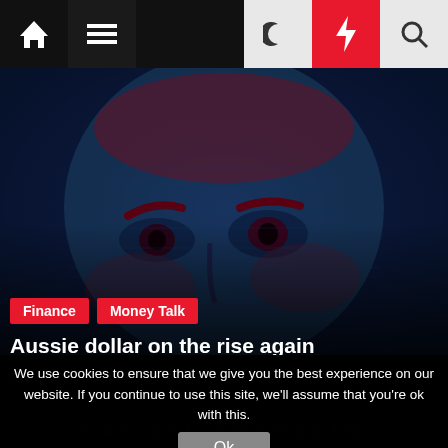Navigation bar with home, menu, moon/dark mode, lightning/breaking news, and search icons
[Figure (photo): Close-up of a face printed on an Australian banknote, tinted in blue and red hues]
Finance  Money Talk
Aussie dollar on the rise again
3 years ago
We use cookies to ensure that we give you the best experience on our website. If you continue to use this site, we'll assume that you're ok with this.
Ok
CAT EYE CONTACTS